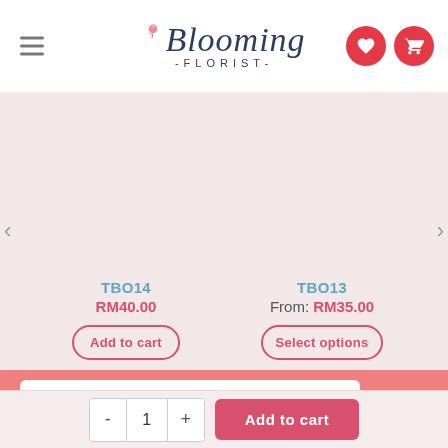Blooming Florist
TB014
RM40.00
TBO13
From: RM35.00
Add to cart
Select options
- 1 + Add to cart